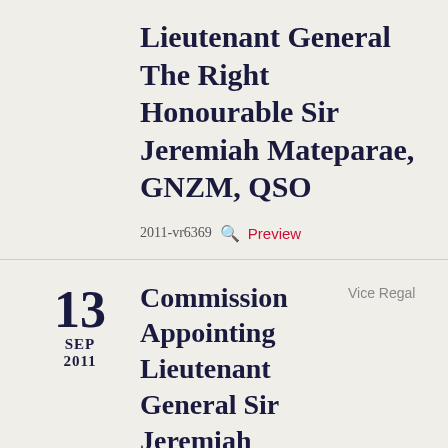Lieutenant General The Right Honourable Sir Jeremiah Mateparae, GNZM, QSO
2011-vr6369  Preview
13 SEP 2011
Commission Appointing Lieutenant General Sir Jeremiah Mateparae, GNZM, QSO, to be Governor-General and Commander-in-Chief
Vice Regal